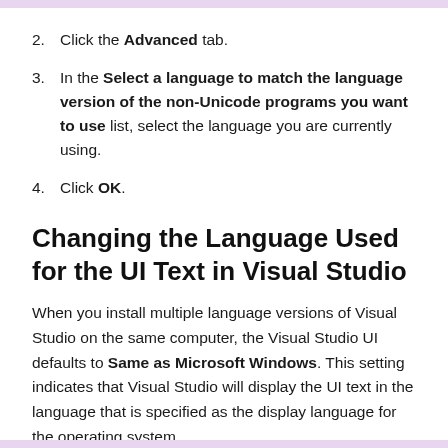2. Click the Advanced tab.
3. In the Select a language to match the language version of the non-Unicode programs you want to use list, select the language you are currently using.
4. Click OK.
Changing the Language Used for the UI Text in Visual Studio
When you install multiple language versions of Visual Studio on the same computer, the Visual Studio UI defaults to Same as Microsoft Windows. This setting indicates that Visual Studio will display the UI text in the language that is specified as the display language for the operating system.